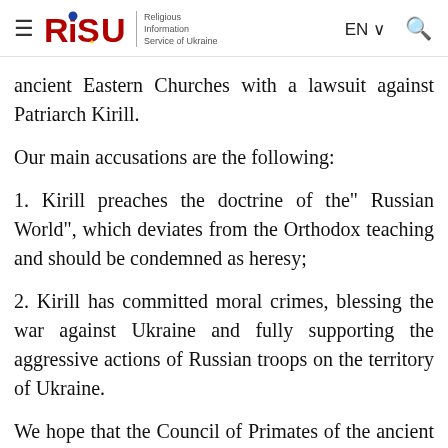RISU — Religious Information Service of Ukraine | EN | Search
ancient Eastern Churches with a lawsuit against Patriarch Kirill.
Our main accusations are the following:
1. Kirill preaches the doctrine of the" Russian World", which deviates from the Orthodox teaching and should be condemned as heresy;
2. Kirill has committed moral crimes, blessing the war against Ukraine and fully supporting the aggressive actions of Russian troops on the territory of Ukraine.
We hope that the Council of Primates of the ancient Eastern Churches will consider our appeal and make its fair decision.